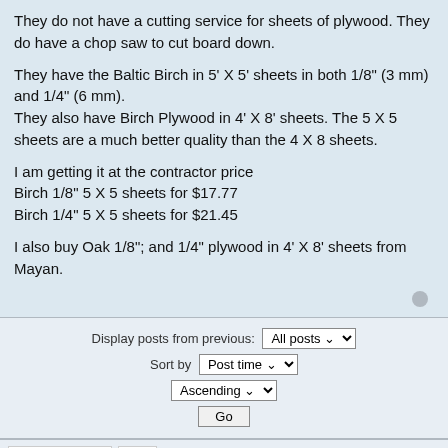They do not have a cutting service for sheets of plywood. They do have a chop saw to cut board down.

They have the Baltic Birch in 5' X 5' sheets in both 1/8" (3 mm) and 1/4" (6 mm).
They also have Birch Plywood in 4' X 8' sheets. The 5 X 5 sheets are a much better quality than the 4 X 8 sheets.

I am getting it at the contractor price
Birch 1/8" 5 X 5 sheets for $17.77
Birch 1/4" 5 X 5 sheets for $21.45

I also buy Oak 1/8"; and 1/4" plywood in 4' X 8' sheets from Mayan.
Display posts from previous: All posts ▼
Sort by Post time ▼
Ascending ▼
Go
[phpBB Debug] PHP Warning: in file [ROOT]/vendor/twig/twig/lib/Twig/Extension/Core.php on line 1107: count(): Parameter must be an array or an object that implements Countable
[phpBB Debug] PHP Warning: in file [ROOT]/vendor/twig/twig/lib/Twig/Extension/Core.php on line 1107: count(): Parameter must be an array or an object that implements Countable
2 posts [phpBB Debug] PHP Warning: in file